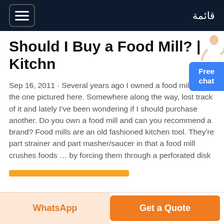قائمة
Should I Buy a Food Mill? | Kitchn
Sep 16, 2011 · Several years ago I owned a food mill like the one pictured here. Somewhere along the way, lost track of it and lately I've been wondering if I should purchase another. Do you own a food mill and can you recommend a brand? Food mills are an old fashioned kitchen tool. They're part strainer and part masher/saucer in that a food mill crushes foods ... by forcing them through a perforated disk